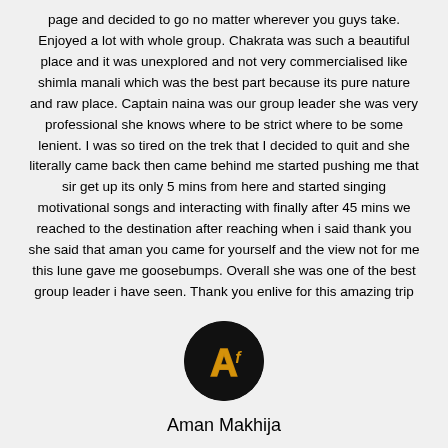page and decided to go no matter wherever you guys take. Enjoyed a lot with whole group. Chakrata was such a beautiful place and it was unexplored and not very commercialised like shimla manali which was the best part because its pure nature and raw place. Captain naina was our group leader she was very professional she knows where to be strict where to be some lenient. I was so tired on the trek that I decided to quit and she literally came back then came behind me started pushing me that sir get up its only 5 mins from here and started singing motivational songs and interacting with finally after 45 mins we reached to the destination after reaching when i said thank you she said that aman you came for yourself and the view not for me this lune gave me goosebumps. Overall she was one of the best group leader i have seen. Thank you enlive for this amazing trip
[Figure (logo): Circular black logo with a golden stylized letter A]
Aman Makhija
Wow! How could Enlive search the place called Chakrata. It was mind soothing, chest cleansing and total pacifying experience for the soul. I